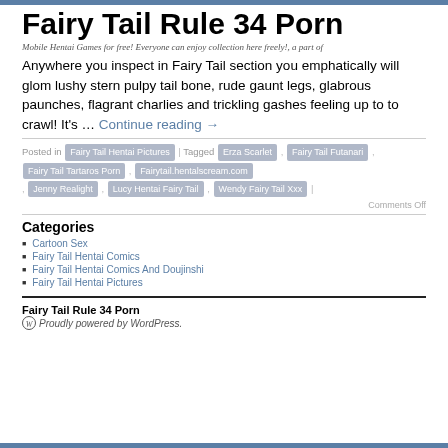Fairy Tail Rule 34 Porn
Mobile Hentai Games for free! Everyone can enjoy collection here freely!, a part of
Anywhere you inspect in Fairy Tail section you emphatically will glom lushy stern pulpy tail bone, rude gaunt legs, glabrous paunches, flagrant charlies and trickling gashes feeling up to to crawl! It's … Continue reading →
Posted in Fairy Tail Hentai Pictures | Tagged Erza Scarlet , Fairy Tail Futanari , Fairy Tail Tartaros Porn , Fairytail.hentalscream.com , Jenny Realight , Lucy Hentai Fairy Tail , Wendy Fairy Tail Xxx |
Comments Off
Categories
Cartoon Sex
Fairy Tail Hentai Comics
Fairy Tail Hentai Comics And Doujinshi
Fairy Tail Hentai Pictures
Fairy Tail Rule 34 Porn — Proudly powered by WordPress.